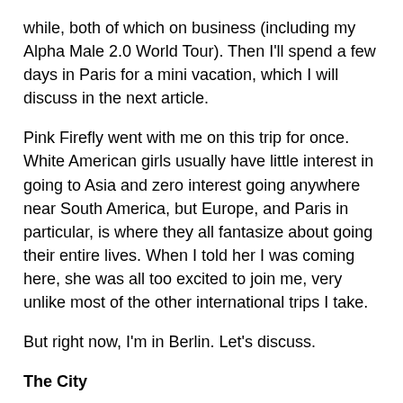while, both of which on business (including my Alpha Male 2.0 World Tour). Then I'll spend a few days in Paris for a mini vacation, which I will discuss in the next article.
Pink Firefly went with me on this trip for once. White American girls usually have little interest in going to Asia and zero interest going anywhere near South America, but Europe, and Paris in particular, is where they all fantasize about going their entire lives. When I told her I was coming here, she was all too excited to join me, very unlike most of the other international trips I take.
But right now, I'm in Berlin. Let's discuss.
The City
The best word I can use to describe Berlin is sleepy. This city is, very strangely, the sleepiest, quietest, least crowded major city I have probably ever visited anywhere in the entire world. Often it doesn't even feel like a city. Cities like